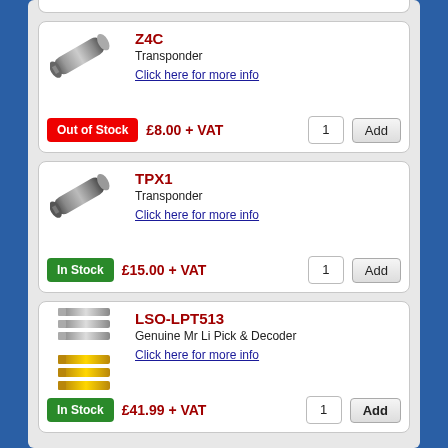[Figure (screenshot): E-commerce product listing page showing three transponder/locksmith product cards: Z4C (Out of Stock, £8.00+VAT), TPX1 (In Stock, £15.00+VAT), LSO-LPT513 (In Stock, £41.99+VAT)]